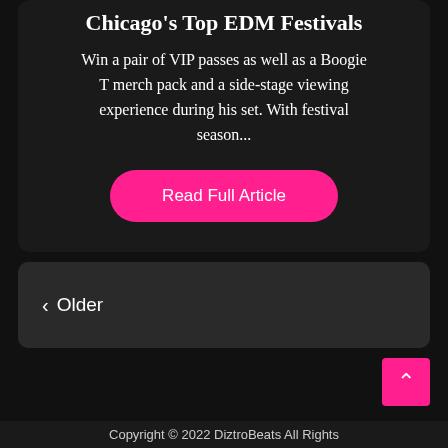Chicago's Top EDM Festivals
Win a pair of VIP passes as well as a Boogie T merch pack and a side-stage viewing experience during his set. With festival season...
Read Full Article
< Older
[Figure (other): Back to top button with upward chevron arrow in pink/magenta]
Copyright © 2022 DiztroBeats All Rights